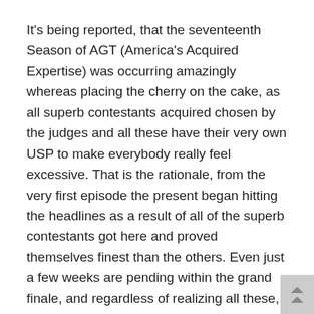It's being reported, that the seventeenth Season of AGT (America's Acquired Expertise) was occurring amazingly whereas placing the cherry on the cake, as all superb contestants acquired chosen by the judges and all these have their very own USP to make everybody really feel excessive. That is the rationale, from the very first episode the present began hitting the headlines as a result of all of the superb contestants got here and proved themselves finest than the others. Even just a few weeks are pending within the grand finale, and regardless of realizing all these, he made such a call which is actually disappointing for his admirers.
Now, just a few who have no idea about him are being attentive to make themselves acquainted with